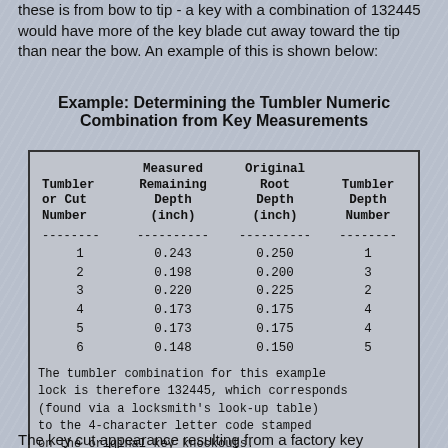these is from bow to tip - a key with a combination of 132445 would have more of the key blade cut away toward the tip than near the bow. An example of this is shown below:
Example: Determining the Tumbler Numeric Combination from Key Measurements
| Tumbler or Cut Number | Measured Remaining Depth (inch) | Original Root Depth (inch) | Tumbler Depth Number |
| --- | --- | --- | --- |
| 1 | 0.243 | 0.250 | 1 |
| 2 | 0.198 | 0.200 | 3 |
| 3 | 0.220 | 0.225 | 2 |
| 4 | 0.173 | 0.175 | 4 |
| 5 | 0.173 | 0.175 | 4 |
| 6 | 0.148 | 0.150 | 5 |
The tumbler combination for this example lock is therefore 132445, which corresponds (found via a locksmith's look-up table) to the 4-character letter code stamped on the original key knockouts.
The key cut appearance resulting from a factory key